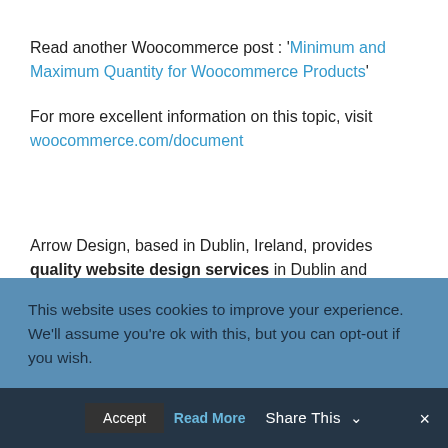Read another Woocommerce post : 'Minimum and Maximum Quantity for Woocommerce Products'
For more excellent information on this topic, visit woocommerce.com/document
Arrow Design, based in Dublin, Ireland, provides quality website design services in Dublin and beyond at affordable prices. If you would like help with implementing the above code, or any wordpress website development project, contact us. We love website design and it shows! We provide custom
This website uses cookies to improve your experience. We'll assume you're ok with this, but you can opt-out if you wish.
Accept  Read More  Share This ∨  ✕